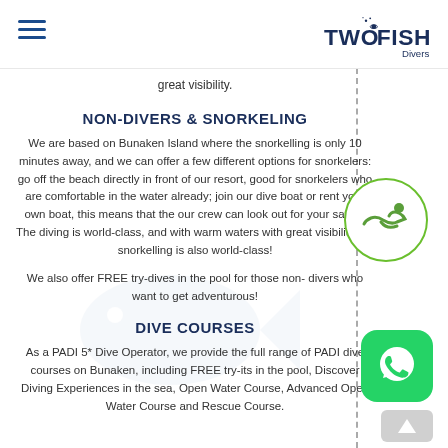Two Fish Divers
great visibility.
NON-DIVERS & SNORKELING
We are based on Bunaken Island where the snorkelling is only 10 minutes away, and we can offer a few different options for snorkelers: go off the beach directly in front of our resort, good for snorkelers who are comfortable in the water already; join our dive boat or rent your own boat, this means that the our crew can look out for your safety. The diving is world-class, and with warm waters with great visibility the snorkelling is also world-class!
We also offer FREE try-dives in the pool for those non-divers who want to get adventurous!
DIVE COURSES
As a PADI 5* Dive Operator, we provide the full range of PADI dive courses on Bunaken, including FREE try-its in the pool, Discover Diving Experiences in the sea, Open Water Course, Advanced Open Water Course and Rescue Course.